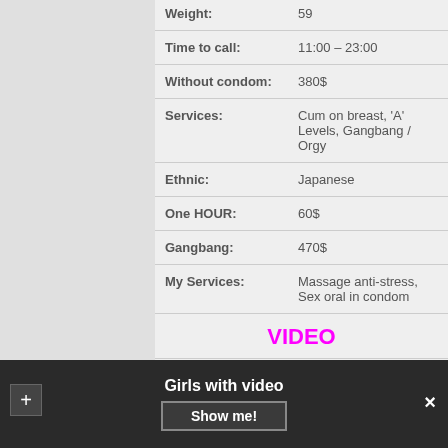| Field | Value |
| --- | --- |
| Weight: | 59 |
| Time to call: | 11:00 – 23:00 |
| Without condom: | 380$ |
| Services: | Cum on breast, 'A' Levels, Gangbang / Orgy |
| Ethnic: | Japanese |
| One HOUR: | 60$ |
| Gangbang: | 470$ |
| My Services: | Massage anti-stress, Sex oral in condom |
|  | VIDEO |
Girls with video
Show me!